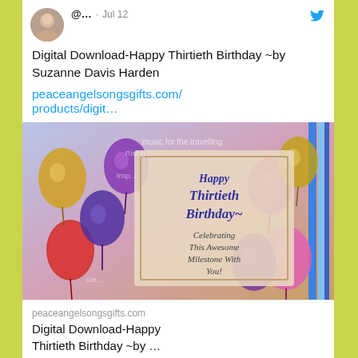[Figure (screenshot): Twitter/social media post screenshot showing a tweet from @... on Jul 12 about 'Digital Download-Happy Thirtieth Birthday ~by Suzanne Davis Harden' with a link to peaceangelsongsgifts.com/products/digit… and an image of a birthday card with balloons, followed by a card preview showing the same link title, with 1 like, and a 'SuzanneHarden Retweeted' section below.]